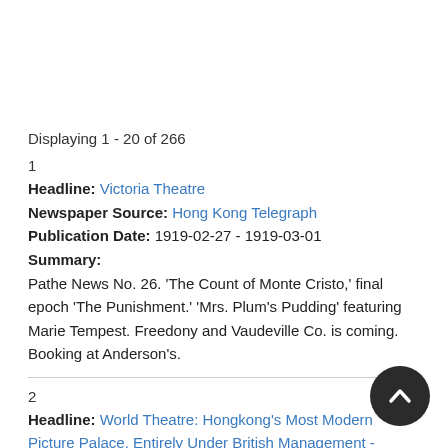Displaying 1 - 20 of 266
1
Headline: Victoria Theatre
Newspaper Source: Hong Kong Telegraph
Publication Date: 1919-02-27 - 1919-03-01
Summary:
Pathe News No. 26. 'The Count of Monte Cristo,' final epoch 'The Punishment.' 'Mrs. Plum's Pudding' featuring Marie Tempest. Freedony and Vaudeville Co. is coming. Booking at Anderson's.
2
Headline: World Theatre: Hongkong's Most Modern Picture Palace. Entirely Under British Management - Phone. 1337
Newspaper Source: Hong Kong Telegraph
Publication Date: 1921-11-08 - 1921-11-10